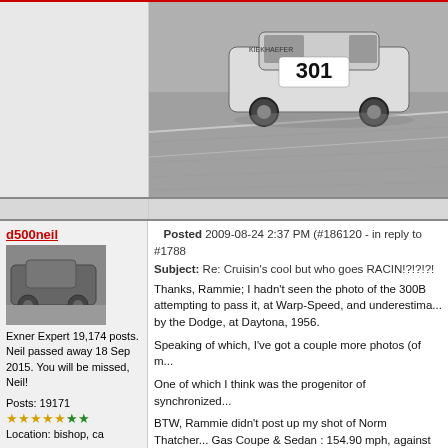[Figure (photo): Black and white photo of a vintage race car numbered 301 on a track, partially cropped at top of page]
d500neil
[Figure (photo): Small avatar image of a vintage car, belonging to forum user d500neil]
Exner Expert 19,174 posts.
Neil passed away 18 Sep 2015. You will be missed, Neil!

Posts: 19171
Location: bishop, ca
Posted 2009-08-24 2:37 PM (#186120 - in reply to #1788...
Subject: Re: Cruisin's cool but who goes RACIN!?!?!?!

Thanks, Rammie; I hadn't seen the photo of the 300B attempting to pass it, at Warp-Speed, and underestima... by the Dodge, at Daytona, 1956.

Speaking of which, I've got a couple more photos (of m...

One of which I think was the progenitor of synchronized...

BTW, Rammie didn't post up my shot of Norm Thatcher... Gas Coupe & Sedan : 154.90 mph, against 162.74 fro... of the three cars was identified, but the 4th and 5th pla... --real close to Norm's time, and 153.00--close, too..., c...